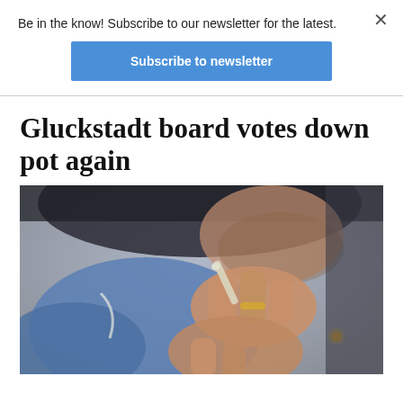Be in the know! Subscribe to our newsletter for the latest.
Subscribe to newsletter
Gluckstadt board votes down pot again
[Figure (photo): Close-up photo of a person holding a marijuana cigarette/joint between their fingers, with a lit ember visible. The person is wearing a blue shirt and a ring. The background is blurred.]